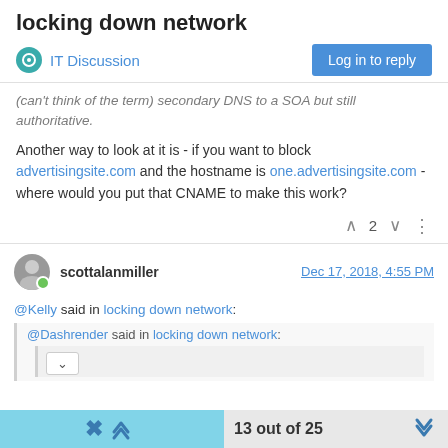locking down network
IT Discussion
(can't think of the term) secondary DNS to a SOA but still authoritative.
Another way to look at it is - if you want to block advertisingsite.com and the hostname is one.advertisingsite.com - where would you put that CNAME to make this work?
^ 2 v
scottalanmiller
Dec 17, 2018, 4:55 PM
@Kelly said in locking down network:
@Dashrender said in locking down network:
13 out of 25